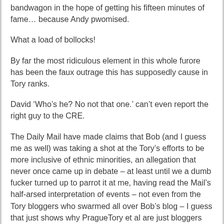bandwagon in the hope of getting his fifteen minutes of fame… because Andy pwomised.
What a load of bollocks!
By far the most ridiculous element in this whole furore has been the faux outrage this has supposedly cause in Tory ranks.
David 'Who's he? No not that one.' can't even report the right guy to the CRE.
The Daily Mail have made claims that Bob (and I guess me as well) was taking a shot at the Tory's efforts to be more inclusive of ethnic minorities, an allegation that never once came up in debate – at least until we a dumb fucker turned up to parrot it at me, having read the Mail's half-arsed interpretation of events – not even from the Tory bloggers who swarmed all over Bob's blog – I guess that just shows why PragueTory et al are just bloggers and not tabloid journalists. No imagination.
That's really sad, when you think about it. Not having...